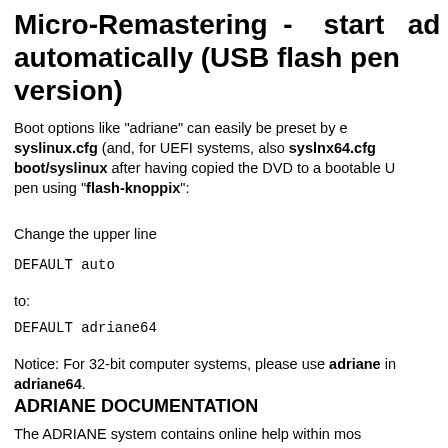Micro-Remastering - start automatically (USB flash pen version)
Boot options like "adriane" can easily be preset by editing syslinux.cfg (and, for UEFI systems, also syslnx64.cfg) in boot/syslinux after having copied the DVD to a bootable USB flash pen using "flash-knoppix":
Change the upper line
DEFAULT auto
to:
DEFAULT adriane64
Notice: For 32-bit computer systems, please use adriane instead of adriane64.
ADRIANE DOCUMENTATION
The ADRIANE system contains online help within most components. An extensive manual for ADRIANE is work in progress...